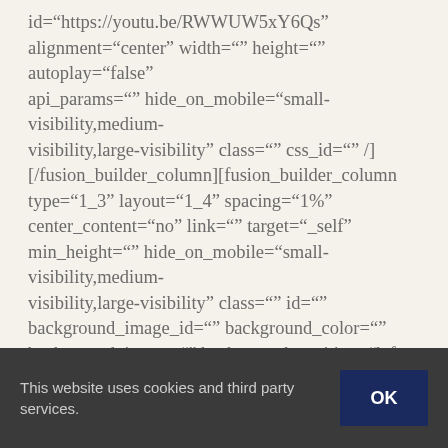id="https://youtu.be/RWWUW5xY6Qs" alignment="center" width="" height="" autoplay="false" api_params="" hide_on_mobile="small-visibility,medium-visibility,large-visibility" class="" css_id="" /] [/fusion_builder_column][fusion_builder_column type="1_3" layout="1_4" spacing="1%" center_content="no" link="" target="_self" min_height="" hide_on_mobile="small-visibility,medium-visibility,large-visibility" class="" id="" background_image_id="" background_color="" background_image="" background_position="left top" undefined="" background_repeat="no-repeat" hover_type="none" border_color="" border_style="solid" border_position="all" padding_top="0" padding_right="0" padding_bottom="0" padding_left="0" margin_top="0" margin_bottom="0"
This website uses cookies and third party services.